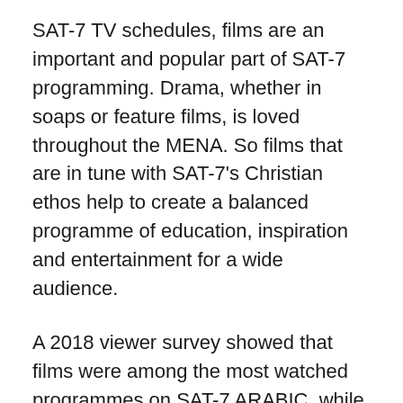SAT-7 TV schedules, films are an important and popular part of SAT-7 programming. Drama, whether in soaps or feature films, is loved throughout the MENA. So films that are in tune with SAT-7's Christian ethos help to create a balanced programme of education, inspiration and entertainment for a wide audience.
A 2018 viewer survey showed that films were among the most watched programmes on SAT-7 ARABIC, while 80 per cent of the network's Persian-language viewers rated SAT-7 highly because of the variety of programmes – talk shows, live programmes and films – and wanted to see more movies.